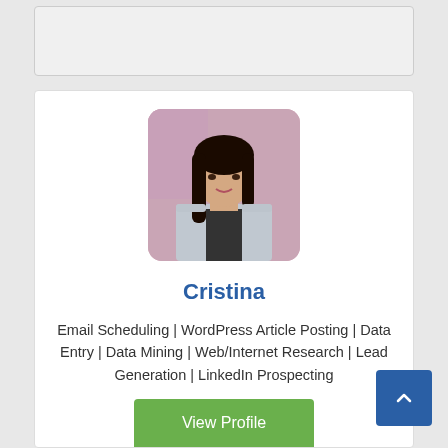[Figure (photo): Profile photo of a young woman named Cristina against a pink background, with long dark hair, wearing a light gray sleeveless top.]
Cristina
Email Scheduling | WordPress Article Posting | Data Entry | Data Mining | Web/Internet Research | Lead Generation | LinkedIn Prospecting